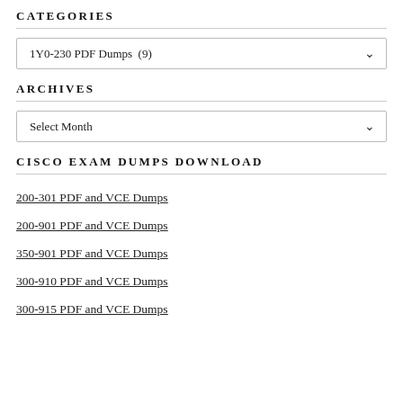CATEGORIES
[Figure (screenshot): Dropdown selector showing '1Y0-230 PDF Dumps (9)' with a chevron]
ARCHIVES
[Figure (screenshot): Dropdown selector showing 'Select Month' with a chevron]
CISCO EXAM DUMPS DOWNLOAD
200-301 PDF and VCE Dumps
200-901 PDF and VCE Dumps
350-901 PDF and VCE Dumps
300-910 PDF and VCE Dumps
300-915 PDF and VCE Dumps